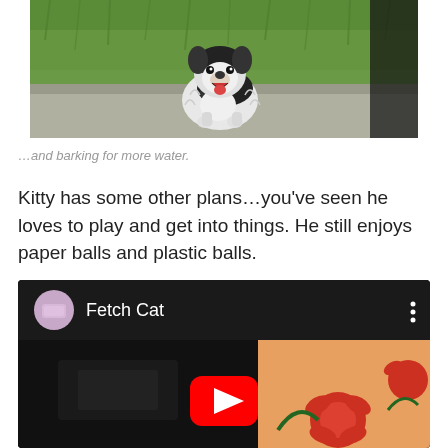[Figure (photo): Photo of a fluffy black and white dog standing on a concrete/grass area, mouth open, looking up at camera]
…and barking for more water.
Kitty has some other plans…you've seen he loves to play and get into things. He still enjoys paper balls and plastic balls.
[Figure (screenshot): YouTube video embed showing 'Fetch Cat' video with red play button, channel icon, and thumbnail showing dark scene with floral fabric on right side]